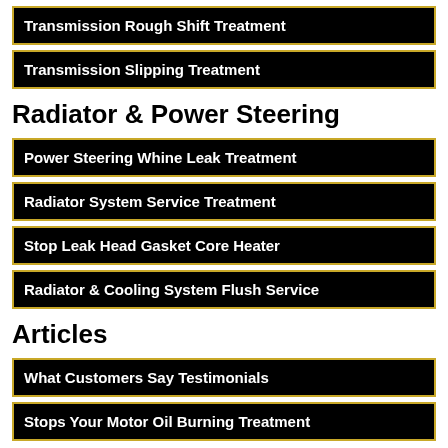Transmission Rough Shift Treatment
Transmission Slipping Treatment
Radiator & Power Steering
Power Steering Whine Leak Treatment
Radiator System Service Treatment
Stop Leak Head Gasket Core Heater
Radiator & Cooling System Flush Service
Articles
What Customers Say Testimonials
Stops Your Motor Oil Burning Treatment